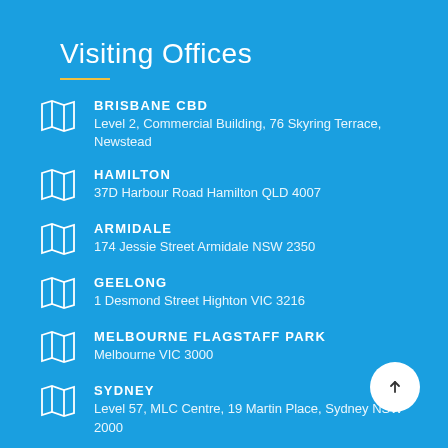Visiting Offices
BRISBANE CBD – Level 2, Commercial Building, 76 Skyring Terrace, Newstead
HAMILTON – 37D Harbour Road Hamilton QLD 4007
ARMIDALE – 174 Jessie Street Armidale NSW 2350
GEELONG – 1 Desmond Street Highton VIC 3216
MELBOURNE FLAGSTAFF PARK – Melbourne VIC 3000
SYDNEY – Level 57, MLC Centre, 19 Martin Place, Sydney NSW 2000